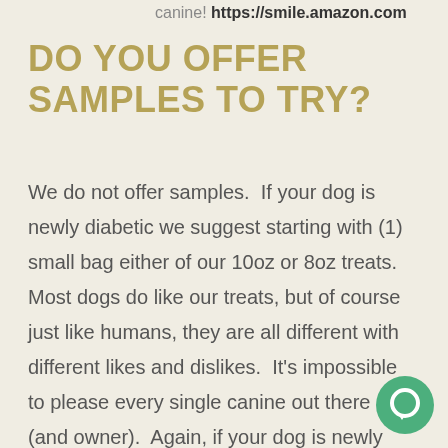canine! https://smile.amazon.com
DO YOU OFFER SAMPLES TO TRY?
We do not offer samples.  If your dog is newly diabetic we suggest starting with (1) small bag either of our 10oz or 8oz treats.  Most dogs do like our treats, but of course just like humans, they are all different with different likes and dislikes.  It's impossible to please every single canine out there (and owner).  Again, if your dog is newly diabetic and you have had to
[Figure (illustration): Green circular chat bubble icon in bottom right corner]